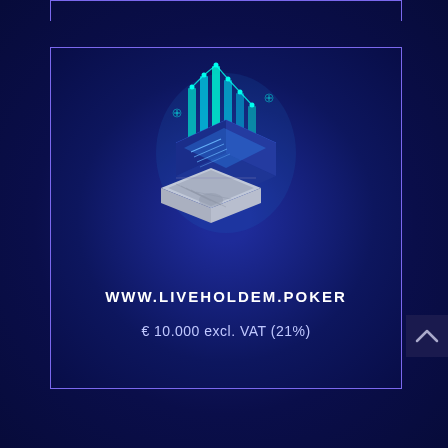[Figure (illustration): Isometric 3D illustration of a laptop computer with holographic data/charts rising from the screen, in teal and blue colors on a dark blue background]
WWW.LIVEHOLDEM.POKER
€ 10.000 excl. VAT (21%)